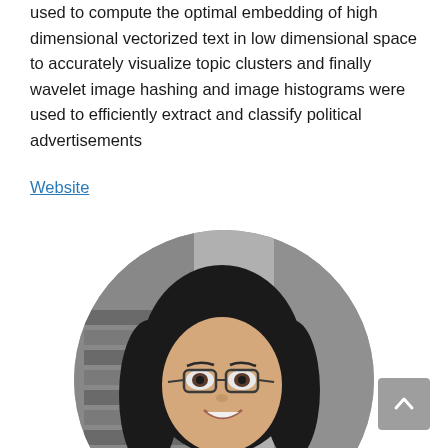used to compute the optimal embedding of high dimensional vectorized text in low dimensional space to accurately visualize topic clusters and finally wavelet image hashing and image histograms were used to efficiently extract and classify political advertisements
Website
[Figure (photo): Black and white circular portrait photo of a smiling woman with glasses and dark hair, photographed outdoors.]